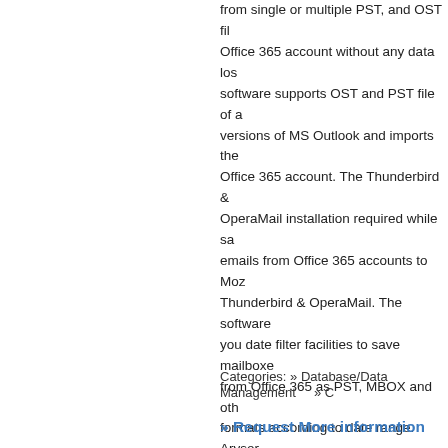from single or multiple PST, and OST files to Office 365 account without any data loss. The software supports OST and PST file of all versions of MS Outlook and imports them to Office 365 account. The Thunderbird & OperaMail installation required while saving emails from Office 365 accounts to Mozilla Thunderbird & OperaMail. The software gives you date filter facilities to save mailboxes from Office 365 as PST, MBOX and other formats according to date range. Aryson Office 365 Backup & Restore software smoothly runs with all version of Windows including Win 10 and lower version. It offers demo version for a free evaluation for users, the demo version working same as a full version but demo version backup emails only 50 items per folder. And the restore options allows you to import up to 50 emails items from the backup OST and PST files to Office 365. Last Updated: 05/29/21
Categories: » Database/Data Management   » C
» Request More information